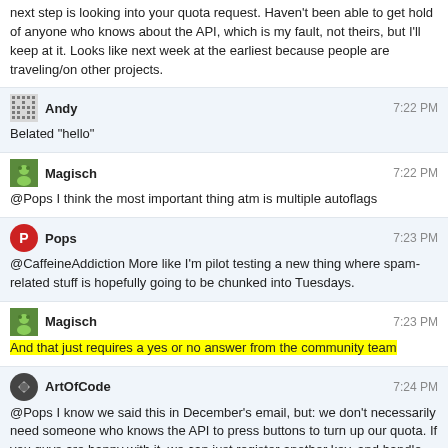next step is looking into your quota request. Haven't been able to get hold of anyone who knows about the API, which is my fault, not theirs, but I'll keep at it. Looks like next week at the earliest because people are traveling/on other projects.
Andy 7:22 PM
Belated "hello"
Magisch 7:22 PM
@Pops I think the most important thing atm is multiple autoflags
Pops 7:23 PM
@CaffeineAddiction More like I'm pilot testing a new thing where spam-related stuff is hopefully going to be chunked into Tuesdays.
Magisch 7:23 PM
And that just requires a yes or no answer from the community team
ArtOfCode 7:24 PM
@Pops I know we said this in December's email, but: we don't necessarily need someone who knows the API to press buttons to turn up our quota. If you guys are happy with it, we can just register another key, and handle balancing between them ourselves - that gets us double the quota with no work and little discussion your end.
Magisch 7:24 PM
We can deal with 10k quota per day, but the autoflagging project is on hold for expansion until we get word from a CM

In essence, whats in debate right now is your permission for some ... creative use of the flagging and api mechanics

Like, we already can do all of this stuff and more, we just dont know if we're allowed to